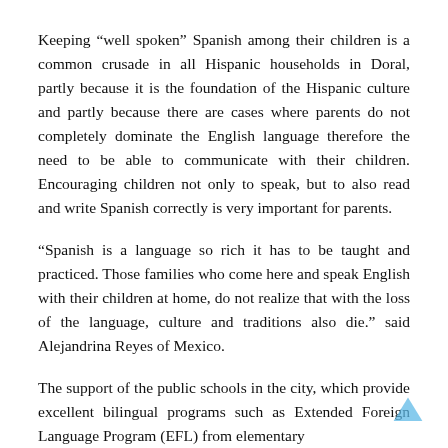Keeping “well spoken” Spanish among their children is a common crusade in all Hispanic households in Doral, partly because it is the foundation of the Hispanic culture and partly because there are cases where parents do not completely dominate the English language therefore the need to be able to communicate with their children. Encouraging children not only to speak, but to also read and write Spanish correctly is very important for parents.
“Spanish is a language so rich it has to be taught and practiced. Those families who come here and speak English with their children at home, do not realize that with the loss of the language, culture and traditions also die.” said Alejandrina Reyes of Mexico.
The support of the public schools in the city, which provide excellent bilingual programs such as Extended Foreign Language Program (EFL) from elementary